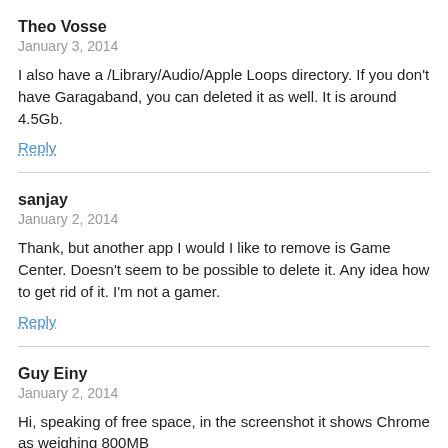Theo Vosse
January 3, 2014
I also have a /Library/Audio/Apple Loops directory. If you don't have Garagaband, you can deleted it as well. It is around 4.5Gb.
Reply
sanjay
January 2, 2014
Thank, but another app I would I like to remove is Game Center. Doesn't seem to be possible to delete it. Any idea how to get rid of it. I'm not a gamer.
Reply
Guy Einy
January 2, 2014
Hi, speaking of free space, in the screenshot it shows Chrome as weighing 800MB
That almost definitely means it has in it some old versions it keeps up for backup and forgets to delete.
"Show Package Contents" to get to them.
You're welcome.